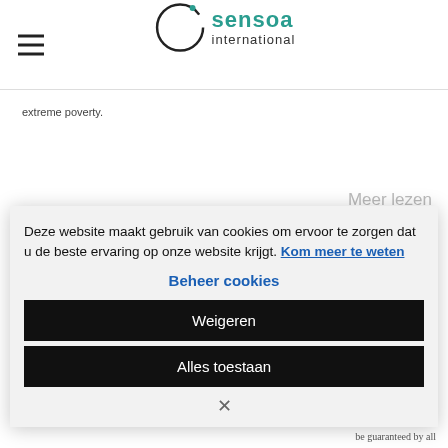sensoa international
extreme poverty.
Meer lezen
Deze website maakt gebruik van cookies om ervoor te zorgen dat u de beste ervaring op onze website krijgt. Kom meer te weten
Beheer cookies
Weigeren
Alles toestaan
be guaranteed by all